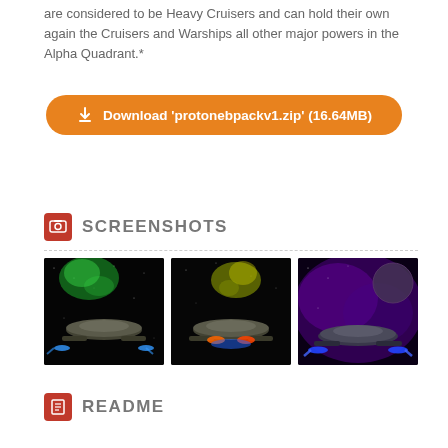are considered to be Heavy Cruisers and can hold their own again the Cruisers and Warships all other major powers in the Alpha Quadrant.*
Download 'protonebpackv1.zip' (16.64MB)
SCREENSHOTS
[Figure (screenshot): Screenshot of a Star Trek starship with green nebula effect on black space background]
[Figure (screenshot): Screenshot of a Star Trek starship with yellow-green nebula effect on black space background, blue engines firing]
[Figure (screenshot): Screenshot of a Star Trek starship with purple nebula and planet in background]
README